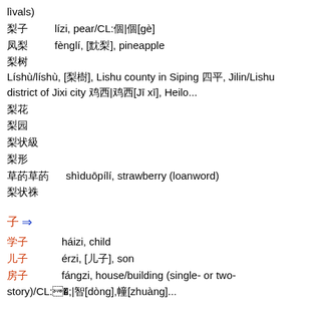lìvals)
梨子  lízi, pear/CL:個|个[gè]
凤梨  fènglí, [鳳梨], pineapple
梨树  Líshù/líshù, [梨樹], Lishu county in Siping 四平, Jilin/Lishu district of Jixi city 鸡西|雞西[Jī xī], Heilo...
梨花
梨园
梨状肌
梨形
草莓草莓  shìduōpílí, strawberry (loanword)
梨状窝
子 ⇒
孩子  háizi, child
儿子  érzi, [兒子], son
房子  fángzi, house/building (single- or two-story)/CL:棟|栋[dòng],幢[zhuàng]...